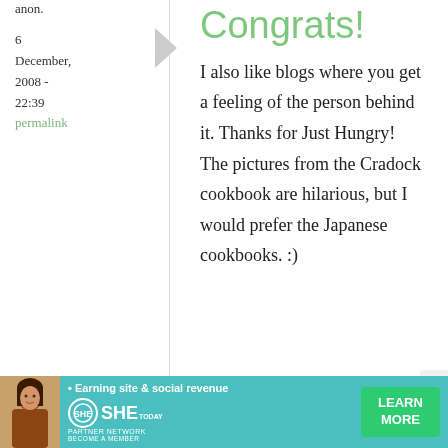anon.
6 December, 2008 - 22:39
permalink
Congrats!
I also like blogs where you get a feeling of the person behind it. Thanks for Just Hungry!
The pictures from the Cradock cookbook are hilarious, but I would prefer the Japanese cookbooks. :)
[Figure (infographic): SHE Media advertisement banner with teal background, woman photo, bullet point 'Earning site & social revenue', SHE PARTNER NETWORK logo, and LEARN MORE green button]